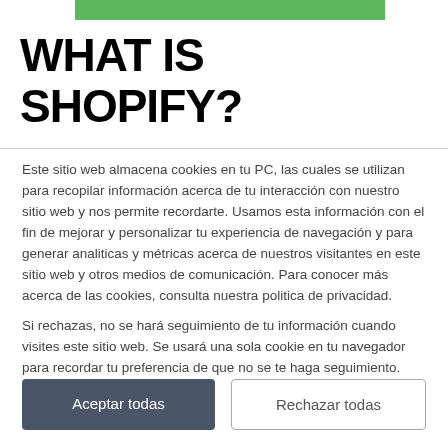[Figure (other): Green horizontal bar at the top center of the page]
WHAT IS SHOPIFY?
Este sitio web almacena cookies en tu PC, las cuales se utilizan para recopilar información acerca de tu interacción con nuestro sitio web y nos permite recordarte. Usamos esta información con el fin de mejorar y personalizar tu experiencia de navegación y para generar analiticas y métricas acerca de nuestros visitantes en este sitio web y otros medios de comunicación. Para conocer más acerca de las cookies, consulta nuestra politica de privacidad.

Si rechazas, no se hará seguimiento de tu información cuando visites este sitio web. Se usará una sola cookie en tu navegador para recordar tu preferencia de que no se te haga seguimiento.
Aceptar todas | Rechazar todas